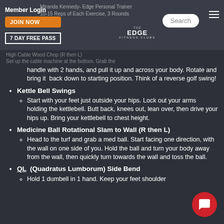Member Login | JOIN NOW | 7 DAY FREE PASS | THE EDGE FITNESS CLUBS | Search
Miranda Kennedy- Edge Personal Trainer
10-15 Reps of Each Exercise, 3 Rounds
High Cable Wood Chop (R then L)
Set up the cable machine at the bottom. Grab the handle with 2 hands, and pull it up and across your body. Rotate and bring it back down to starting position. Think of a reverse golf swing!
Kettle Bell Swings
Start with your feet just outside your hips. Lock out your arms holding the kettlebell. Butt back, knees out, lean over, then drive your hips up. Bring your kettlebell to chest height.
Medicine Ball Rotational Slam to Wall (R then L)
Head to the turf and grab a med ball. Start facing one direction, with the wall on one side of you. Hold the ball and turn your body away from the wall, then quickly turn towards the wall and toss the ball.
QL (Quadratus Lumborum) Side Bend
Hold 1 dumbell in 1 hand. Keep your feet shoulder